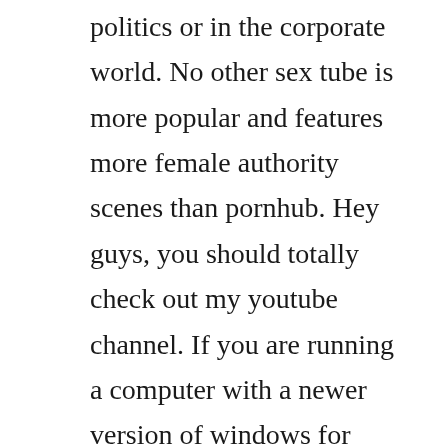politics or in the corporate world. No other sex tube is more popular and features more female authority scenes than pornhub. Hey guys, you should totally check out my youtube channel. If you are running a computer with a newer version of windows for example, windows 95, 98, me, xp, 2000, nt, or vista you can run virtual woman millennium. Many people use it to look into private desires and play out fantasies they may not feel proud of in the light of day. Our new desktop experience was built to be your music destination. Hitlers secret jewish